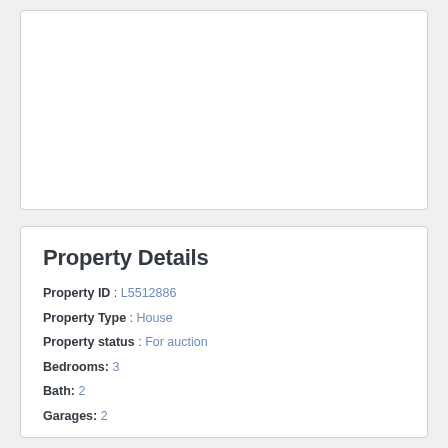[Figure (photo): Property photo placeholder, white box]
Property Details
Property ID : L5512886
Property Type : House
Property status : For auction
Bedrooms: 3
Bath: 2
Garages: 2